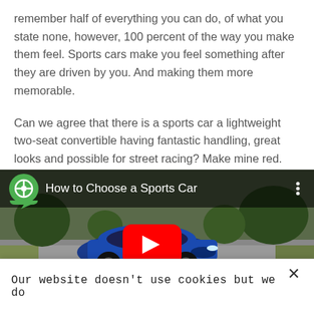remember half of everything you can do, of what you state none, however, 100 percent of the way you make them feel. Sports cars make you feel something after they are driven by you. And making them more memorable.
Can we agree that there is a sports car a lightweight two-seat convertible having fantastic handling, great looks and possible for street racing? Make mine red.
[Figure (screenshot): YouTube video thumbnail showing a blue sports car (Corvette) on a road track, with the video title 'How to Choose a Sports Car', a green steering wheel channel icon, and a red YouTube play button overlay.]
Our website doesn't use cookies but we do